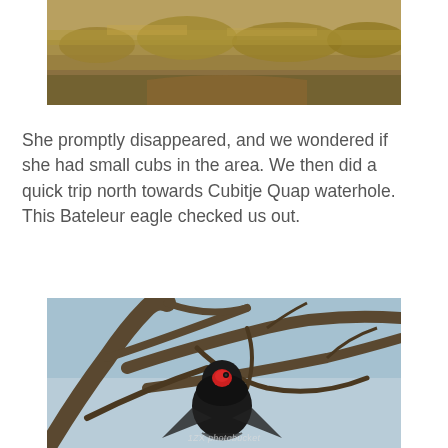[Figure (photo): Landscape photo showing dry savanna scrubland with dry golden-brown grasses and bushes, arid terrain with a dirt path/road visible.]
She promptly disappeared, and we wondered if she had small cubs in the area. We then did a quick trip north towards Cubitje Quap waterhole. This Bateleur eagle checked us out.
[Figure (photo): Photo of a Bateleur eagle perched in the branches of a large dead tree with twisted bare branches, blue sky background. The eagle has distinctive black plumage and a red face. A Photobucket watermark is visible at the bottom.]